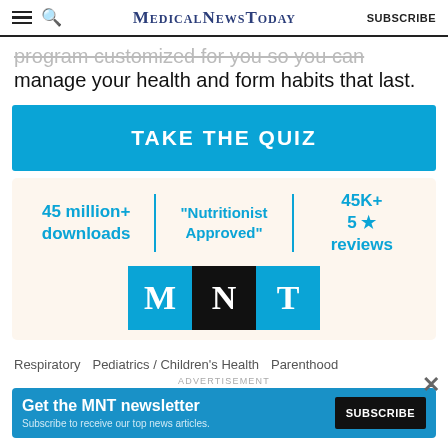MedicalNewsToday | SUBSCRIBE
program customized for you so you can manage your health and form habits that last.
[Figure (other): Take the Quiz button — blue rectangle with white bold text 'TAKE THE QUIZ']
[Figure (infographic): Stats box with cream background: '45 million+ downloads', 'Nutritionist Approved', '45K+ 5 star reviews', and MNT logo with M (blue), N (black), T (blue) squares]
Respiratory   Pediatrics / Children's Health   Parenthood
ADVERTISEMENT
[Figure (infographic): MNT newsletter ad banner: 'Get the MNT newsletter — Subscribe to receive our top news articles' with SUBSCRIBE button]